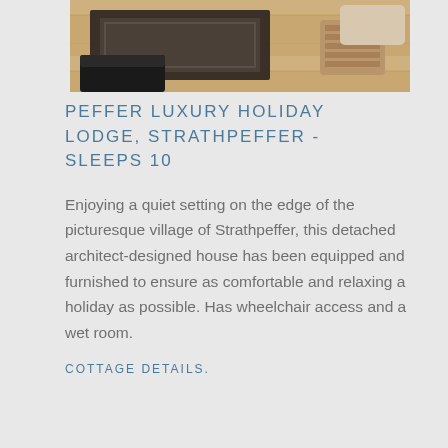[Figure (photo): Interior photo of a luxury lodge showing a dark geometric rug on light wood flooring, with a black leather sofa and wicker/rattan accessories visible]
PEFFER LUXURY HOLIDAY LODGE, STRATHPEFFER - SLEEPS 10
Enjoying a quiet setting on the edge of the picturesque village of Strathpeffer, this detached architect-designed house has been equipped and furnished to ensure as comfortable and relaxing a holiday as possible. Has wheelchair access and a wet room.
COTTAGE DETAILS.